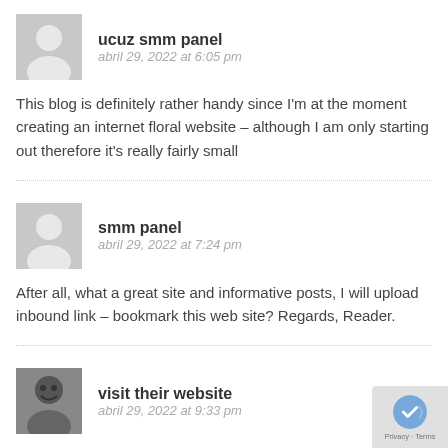[Figure (illustration): Gray placeholder avatar icon for user ucuz smm panel]
ucuz smm panel
abril 29, 2022 at 6:05 pm
This blog is definitely rather handy since I'm at the moment creating an internet floral website – although I am only starting out therefore it's really fairly small
[Figure (illustration): Gray placeholder avatar icon for user smm panel]
smm panel
abril 29, 2022 at 7:24 pm
After all, what a great site and informative posts, I will upload inbound link – bookmark this web site? Regards, Reader.
[Figure (photo): Black and white photo of a person for user visit their website]
visit their website
abril 29, 2022 at 9:33 pm
Thank you for your article post.Thanks Again.
[Figure (logo): reCAPTCHA badge with Privacy and Terms links]